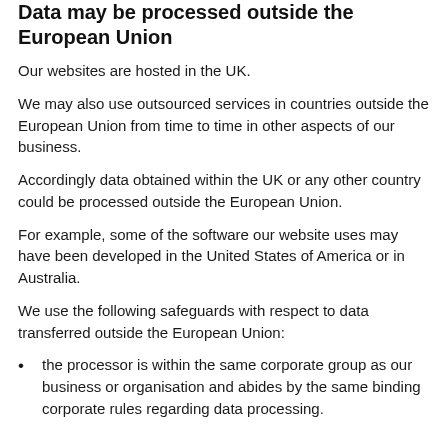Data may be processed outside the European Union
Our websites are hosted in the UK.
We may also use outsourced services in countries outside the European Union from time to time in other aspects of our business.
Accordingly data obtained within the UK or any other country could be processed outside the European Union.
For example, some of the software our website uses may have been developed in the United States of America or in Australia.
We use the following safeguards with respect to data transferred outside the European Union:
the processor is within the same corporate group as our business or organisation and abides by the same binding corporate rules regarding data processing.